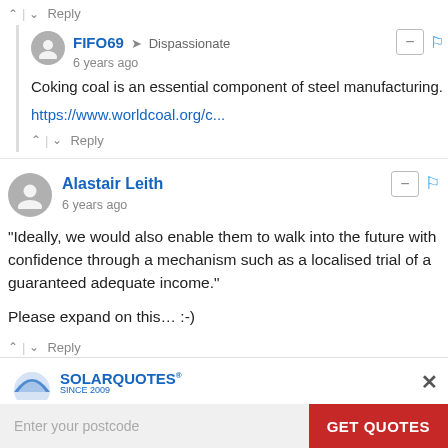↑ | ↓ Reply
FIFO69 → Dispassionate
6 years ago
Coking coal is an essential component of steel manufacturing.
https://www.worldcoal.org/c...
↑ | ↓ Reply
Alastair Leith
6 years ago
"Ideally, we would also enable them to walk into the future with confidence through a mechanism such as a localised trial of a guaranteed adequate income."
Please expand on this… :-)
↑ | ↓ Reply
[Figure (infographic): SolarQuotes advertisement banner with logo, postcode input field, and GET QUOTES button]